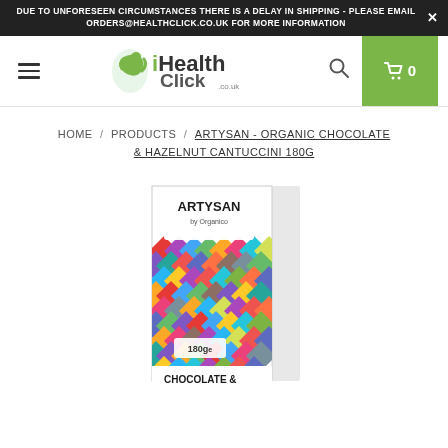DUE TO UNFORESEEN CIRCUMSTANCES THERE IS A DELAY IN SHIPPING - PLEASE EMAIL ORDERS@HEALTHCLICK.CO.UK FOR MORE INFORMATION
[Figure (logo): Health Click .co.uk logo with green leaf figure icon]
HOME / PRODUCTS / ARTYSAN - ORGANIC CHOCOLATE & HAZELNUT CANTUCCINI 180G
[Figure (photo): Artysan by Organico product box - Organic Chocolate & Hazelnut Cantuccini 180g, with colorful diamond/rhombus pattern packaging in multiple colors]